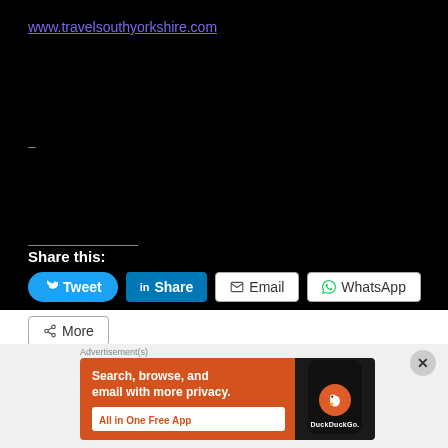www.travelsouthyorkshire.com
–
Share this:
Tweet | Share | Email | WhatsApp | More
[Figure (screenshot): Advertisement banner for DuckDuckGo app with orange background. Text: 'Search, browse, and email with more privacy. All in One Free App'. Shows a phone mockup with DuckDuckGo logo.]